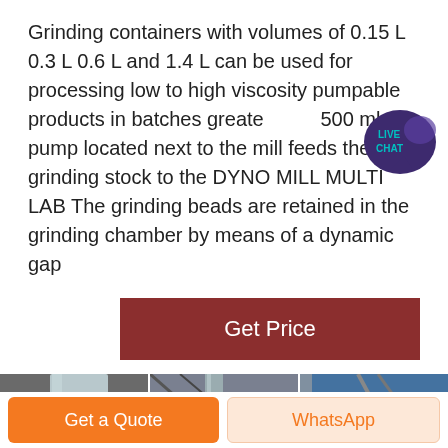Grinding containers with volumes of 0.15 L 0.3 L 0.6 L and 1.4 L can be used for processing low to high viscosity pumpable products in batches greater 500 ml A pump located next to the mill feeds the grinding stock to the DYNO MILL MULTI LAB The grinding beads are retained in the grinding chamber by means of a dynamic gap
[Figure (illustration): Live Chat speech bubble icon with purple/dark blue color and 'LIVE CHAT' text]
[Figure (photo): Strip of three industrial/engineering photos showing grinding mill equipment and industrial machinery]
[Figure (other): Get Price button — dark red/maroon rectangular button with white text 'Get Price']
Get a Quote | WhatsApp